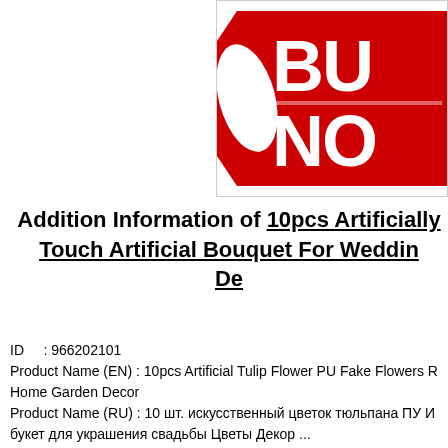[Figure (logo): Red and white BUY NOW logo/badge with bold text on red background with white swoosh/wing shapes]
Addition Information of 10pcs Artificially Touch Artificial Bouquet For Wedding De
ID : 966202101
Product Name (EN) : 10pcs Artificial Tulip Flower PU Fake Flowers Real Touch Artificial Bouquet For Wedding Home Garden Decor
Product Name (RU) : 10 шт. искусственный цветок тюльпана ПУ Искусственный букет для украшения свадьбы Цветы Декор ...